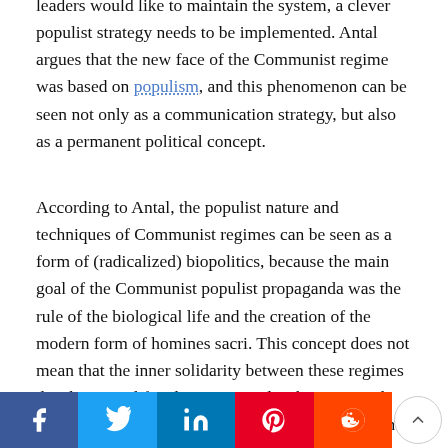leaders would like to maintain the system, a clever populist strategy needs to be implemented. Antal argues that the new face of the Communist regime was based on populism, and this phenomenon can be seen not only as a communication strategy, but also as a permanent political concept.
According to Antal, the populist nature and techniques of Communist regimes can be seen as a form of (radicalized) biopolitics, because the main goal of the Communist populist propaganda was the rule of the biological life and the creation of the modern form of homines sacri. This concept does not mean that the inner solidarity between these regimes devaluate civil freedoms or social rights. To Antal, populisms, especially elaborated and worked out in authoritarian regimes, have a biopolitical character because of the creation of [communities, political on... modern forms